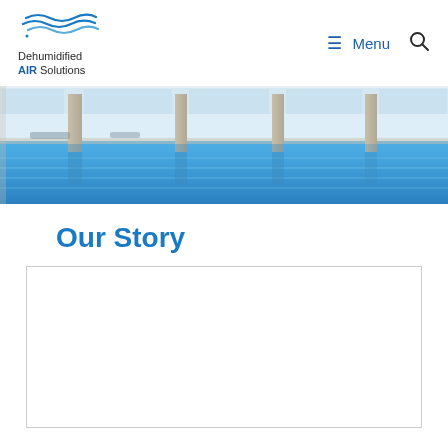Dehumidified AIR Solutions — Menu (navigation bar with logo)
[Figure (photo): Indoor swimming pool with blue water, columns, and large windows letting in natural light]
Our Story
[Figure (other): Empty white content box with border, placeholder for video or image content]